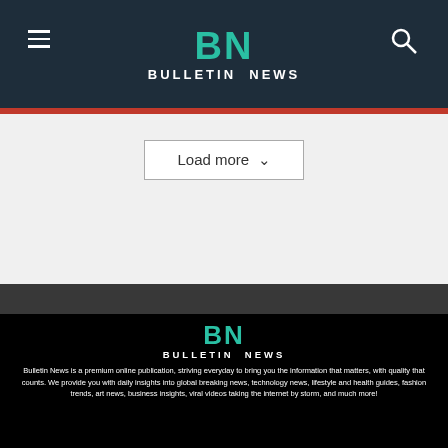BN BULLETIN NEWS
Load more
[Figure (logo): Bulletin News logo with BN in teal and BULLETIN NEWS in white on black background]
Bulletin News is a premium online publication, striving everyday to bring you the information that matters, with quality that counts. We provide you with daily insights into global breaking news, technology news, lifestyle and health guides, fashion trends, art news, business insights, viral videos taking the internet by storm, and much more!